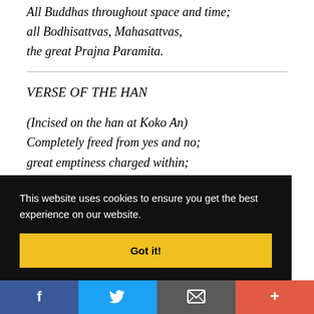All Buddhas throughout space and time;
all Bodhisattvas, Mahasattvas,
the great Prajna Paramita.
VERSE OF THE HAN
(Incised on the han at Koko An)
Completely freed from yes and no;
great emptiness charged within;
no questions, no answers;
This website uses cookies to ensure you get the best experience on our website.
Got it!